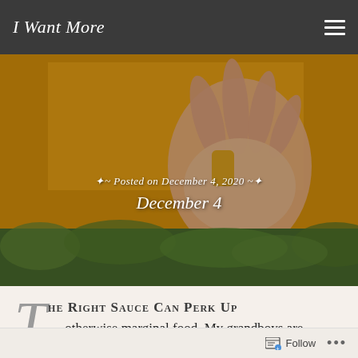I Want More
[Figure (photo): A hand holding what appears to be a tater tot or small food item against a golden yellow background, with a green leafy background visible at the bottom. Overlaid text reads 'Posted on December 4, 2020' and 'December 4' in decorative script.]
THE RIGHT SAUCE CAN PERK UP otherwise marginal food. My grandboys are nuts about tater tots as long as there’s a big squirt of ketchup beside them. Today’s tidings aren’t
Follow •••